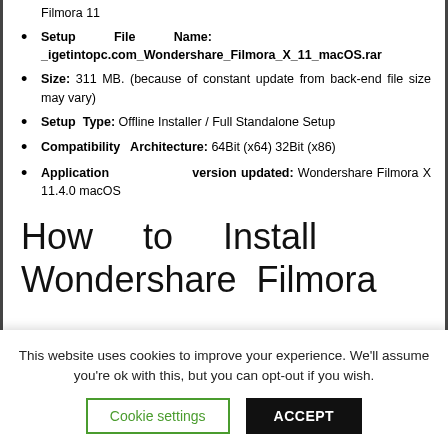Filmora 11
Setup File Name: _igetintopc.com_Wondershare_Filmora_X_11_macOS.rar
Size: 311 MB. (because of constant update from back-end file size may vary)
Setup Type: Offline Installer / Full Standalone Setup
Compatibility Architecture: 64Bit (x64) 32Bit (x86)
Application version updated: Wondershare Filmora X 11.4.0 macOS
How to Install Wondershare Filmora
This website uses cookies to improve your experience. We'll assume you're ok with this, but you can opt-out if you wish.
Cookie settings  ACCEPT